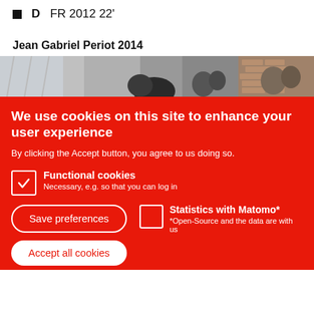D  FR 2012 22'
Jean Gabriel Periot 2014
[Figure (photo): Partial photo strip showing people's heads and a brick wall in the background]
We use cookies on this site to enhance your user experience
By clicking the Accept button, you agree to us doing so.
Functional cookies
Necessary, e.g. so that you can log in
Statistics with Matomo*
*Open-Source and the data are with us
Save preferences
Accept all cookies